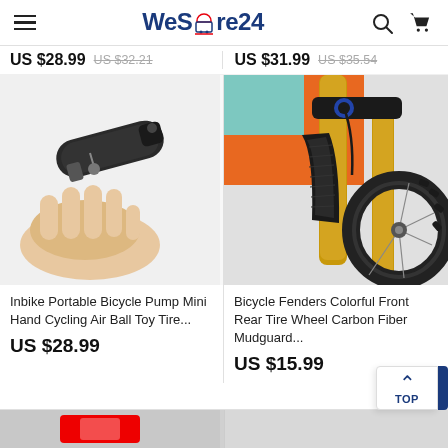WeStore24 - navigation header with hamburger menu, logo, search and cart icons
US $28.99  US $32.21  US $31.99  US $35.54
[Figure (photo): A hand holding a small black portable bicycle pump (mini air pump) against white background]
[Figure (photo): Close-up of a mountain bike front fork with gold/orange suspension fork and black carbon fiber mudguard fender over knobby tire]
Inbike Portable Bicycle Pump Mini Hand Cycling Air Ball Toy Tire...
Bicycle Fenders Colorful Front Rear Tire Wheel Carbon Fiber Mudguard...
US $28.99
US $15.99